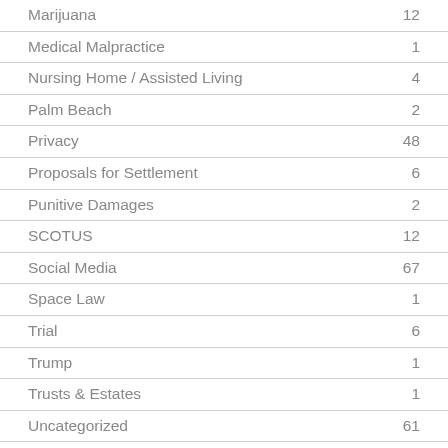| Category | Count |
| --- | --- |
| Marijuana | 12 |
| Medical Malpractice | 1 |
| Nursing Home / Assisted Living | 4 |
| Palm Beach | 2 |
| Privacy | 48 |
| Proposals for Settlement | 6 |
| Punitive Damages | 2 |
| SCOTUS | 12 |
| Social Media | 67 |
| Space Law | 1 |
| Trial | 6 |
| Trump | 1 |
| Trusts & Estates | 1 |
| Uncategorized | 61 |
| Virtual Currency | 16 |